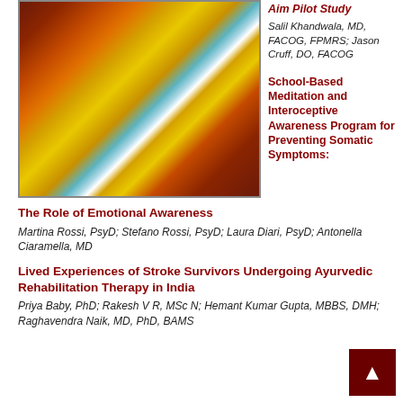[Figure (photo): Abstract painting with warm tones of red, brown, yellow and streaks of blue and white]
Aim Pilot Study
Salil Khandwala, MD, FACOG, FPMRS; Jason Cruff, DO, FACOG
School-Based Meditation and Interoceptive Awareness Program for Preventing Somatic Symptoms: The Role of Emotional Awareness
Martina Rossi, PsyD; Stefano Rossi, PsyD; Laura Diari, PsyD; Antonella Ciaramella, MD
Lived Experiences of Stroke Survivors Undergoing Ayurvedic Rehabilitation Therapy in India
Priya Baby, PhD; Rakesh V R, MSc N; Hemant Kumar Gupta, MBBS, DMH;
Raghavendra Naik, MD, PhD, BAMS